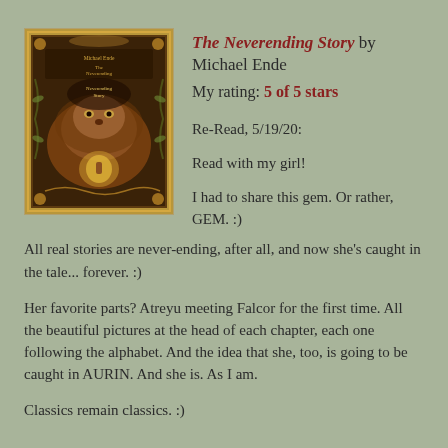[Figure (illustration): Book cover of The Neverending Story by Michael Ende, featuring ornate fantasy artwork with a golden-brown decorative border, a large lion-like creature, and a small figure in a glowing scene]
The Neverending Story by Michael Ende
My rating: 5 of 5 stars
Re-Read, 5/19/20:
Read with my girl!
I had to share this gem. Or rather, GEM. :) All real stories are never-ending, after all, and now she's caught in the tale... forever. :)
Her favorite parts? Atreyu meeting Falcor for the first time. All the beautiful pictures at the head of each chapter, each one following the alphabet. And the idea that she, too, is going to be caught in AURIN. And she is. As I am.
Classics remain classics. :)